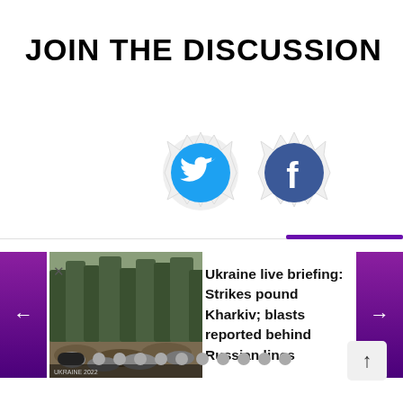JOIN THE DISCUSSION
[Figure (illustration): Twitter bird logo with torn paper effect (blue circle with white bird icon)]
[Figure (illustration): Facebook logo with torn paper effect (blue circle with white f icon)]
[Figure (photo): News article thumbnail showing trees and rubble, accompanying headline about Ukraine]
Ukraine live briefing: Strikes pound Kharkiv; blasts reported behind Russian lines